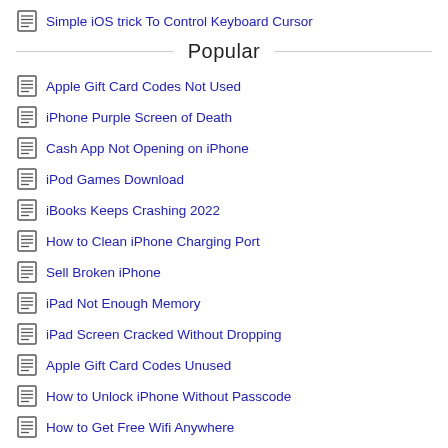Simple iOS trick To Control Keyboard Cursor
Popular
Apple Gift Card Codes Not Used
iPhone Purple Screen of Death
Cash App Not Opening on iPhone
iPod Games Download
iBooks Keeps Crashing 2022
How to Clean iPhone Charging Port
Sell Broken iPhone
iPad Not Enough Memory
iPad Screen Cracked Without Dropping
Apple Gift Card Codes Unused
How to Unlock iPhone Without Passcode
How to Get Free Wifi Anywhere